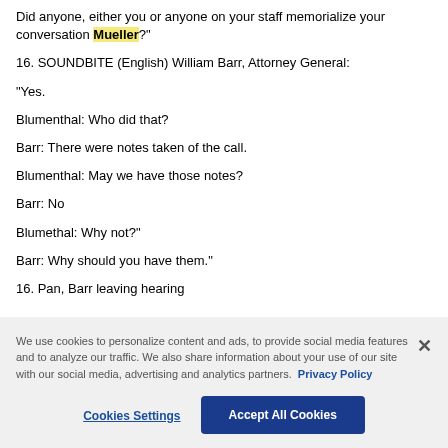Did anyone, either you or anyone on your staff memorialize your conversation Mueller?"
16. SOUNDBITE (English) William Barr, Attorney General:
"Yes.

Blumenthal: Who did that?

Barr: There were notes taken of the call.

Blumenthal: May we have those notes?

Barr: No

Blumethal: Why not?"

Barr: Why should you have them."
16. Pan, Barr leaving hearing
We use cookies to personalize content and ads, to provide social media features and to analyze our traffic. We also share information about your use of our site with our social media, advertising and analytics partners. Privacy Policy
Cookies Settings
Accept All Cookies